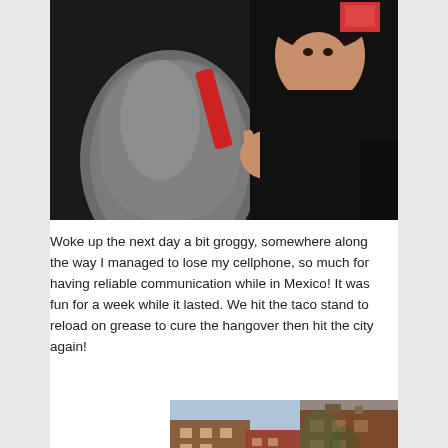[Figure (photo): Nighttime photo inside a vehicle showing a person in a black jacket making a hand gesture, smiling at the camera, with a gray seat back in the foreground and a small illuminated screen visible in the background.]
Woke up the next day a bit groggy, somewhere along the way I managed to lose my cellphone, so much for having reliable communication while in Mexico! It was fun for a week while it lasted. We hit the taco stand to reload on grease to cure the hangover then hit the city again!
[Figure (photo): Partial view of a building exterior with brick facade and multiple windows, possibly ivy-covered, against a light sky — appears to be a street-level or slightly upward-angled shot of an urban building.]